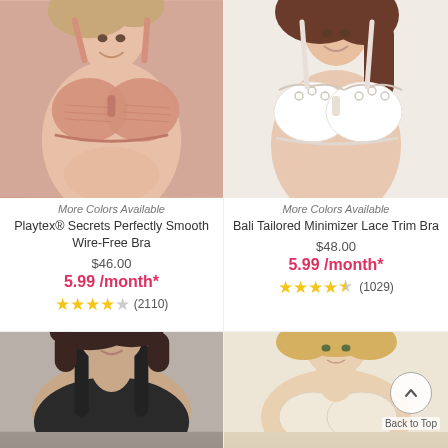[Figure (photo): Woman wearing Playtex pink wire-free bra, upper body shot]
More Colors Available
Playtex® Secrets Perfectly Smooth Wire-Free Bra
$46.00
5.99 /month*
★★★★☆ (2110)
[Figure (photo): Woman wearing Bali white lace trim minimizer bra, upper body shot]
More Colors Available
Bali Tailored Minimizer Lace Trim Bra
$48.00
5.99 /month*
★★★★½ (1029)
[Figure (photo): Woman wearing black tank bra top, partial view]
[Figure (photo): Blonde woman in light colored bra, partial view with Back to Top button]